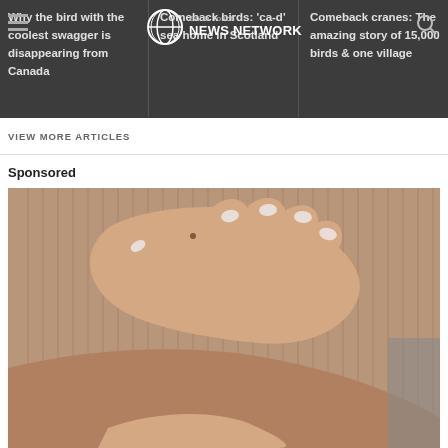Earth Touch NEWS NETWORK
Why the bird with the coolest swagger is disappearing from Canada
Comeback birds: 'ca-d' sea home in Scotland
Comeback cranes: The amazing story of 15,000 birds & one village
VIEW MORE ARTICLES
Sponsored
[Figure (photo): Close-up photo of a woman wearing a brown ribbed sweater, with her hand placed on her chest/stomach area. Her nails are painted light pink/white. The image is a sponsored advertisement.]